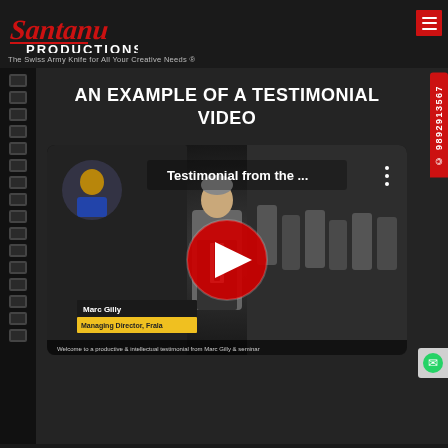Santanu Productions — The Swiss Army Knife for All Your Creative Needs ®
AN EXAMPLE OF A TESTIMONIAL VIDEO
[Figure (screenshot): Embedded YouTube video thumbnail showing a testimonial video titled 'Testimonial from the ...' with a red play button in the center. The thumbnail shows a man in a suit speaking at what appears to be a seminar or conference, with a name card showing 'Marc Gilly' visible in the lower left.]
© 9892913567